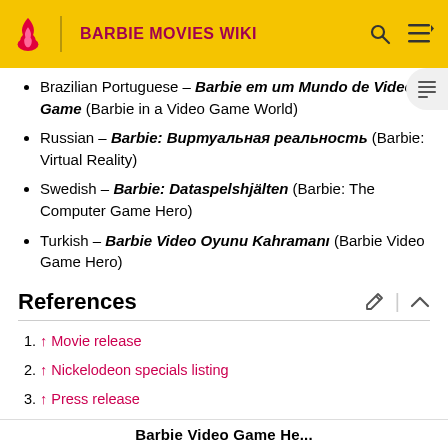BARBIE MOVIES WIKI
Brazilian Portuguese - Barbie em um Mundo de Video Game (Barbie in a Video Game World)
Russian - Barbie: Виртуальная реальность (Barbie: Virtual Reality)
Swedish - Barbie: Dataspelshjälten (Barbie: The Computer Game Hero)
Turkish - Barbie Video Oyunu Kahramanı (Barbie Video Game Hero)
References
↑ Movie release
↑ Nickelodeon specials listing
↑ Press release
Barbie Video Game He...